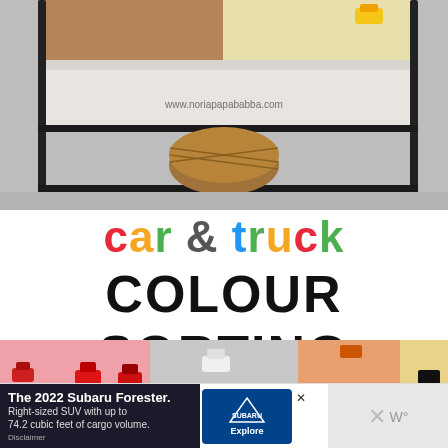[Figure (photo): Overhead view of a coffee table with colored paper sections (brown, yellow) on top, toy cars visible, on a gray fluffy rug. Watermark: www.noriapapababba.com]
car & truck COLOUR SORTING
[Figure (photo): Flat lay of colorful construction paper sheets (pink, gray, orange, green, blue/purple) with toy cars and trucks sorted on them by color.]
The 2022 Subaru Forester. Right-sized SUV with up to 74.2 cubic feet of cargo volume.